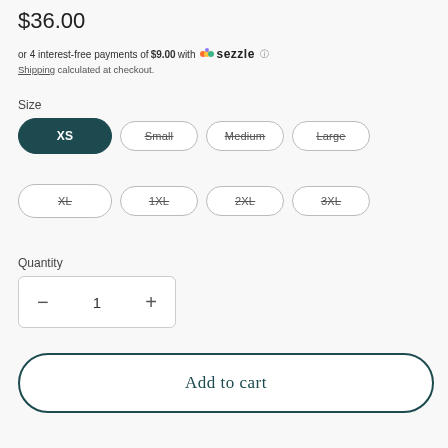$36.00
or 4 interest-free payments of $9.00 with Sezzle ℹ
Shipping calculated at checkout.
Size
XS | Small | Medium | Large | XL | 1XL | 2XL | 3XL
Quantity
− 1 +
Add to cart